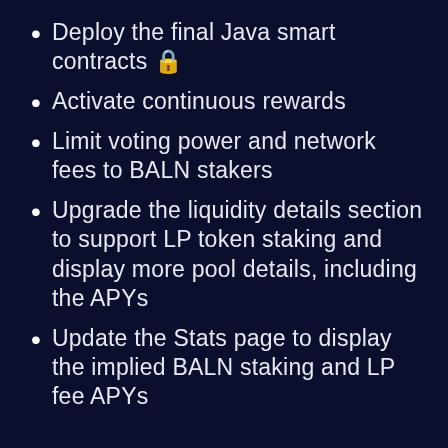Deploy the final Java smart contracts 🔒
Activate continuous rewards
Limit voting power and network fees to BALN stakers
Upgrade the liquidity details section to support LP token staking and display more pool details, including the APYs
Update the Stats page to display the implied BALN staking and LP fee APYs